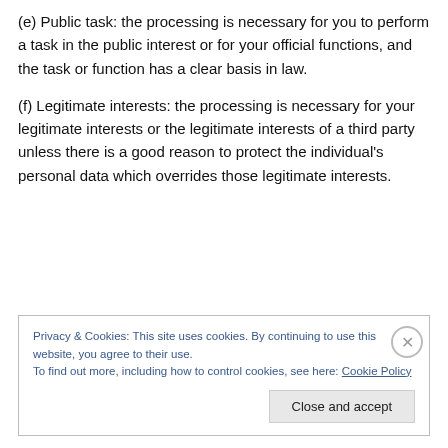(e) Public task: the processing is necessary for you to perform a task in the public interest or for your official functions, and the task or function has a clear basis in law.
(f) Legitimate interests: the processing is necessary for your legitimate interests or the legitimate interests of a third party unless there is a good reason to protect the individual's personal data which overrides those legitimate interests.
Privacy & Cookies: This site uses cookies. By continuing to use this website, you agree to their use.
To find out more, including how to control cookies, see here: Cookie Policy